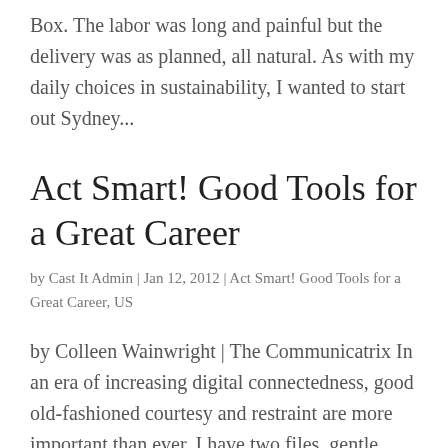Box. The labor was long and painful but the delivery was as planned, all natural. As with my daily choices in sustainability, I wanted to start out Sydney...
Act Smart! Good Tools for a Great Career
by Cast It Admin | Jan 12, 2012 | Act Smart! Good Tools for a Great Career, US
by Colleen Wainwright | The Communicatrix In an era of increasing digital connectedness, good old-fashioned courtesy and restraint are more important than ever. I have two files, gentle reader, that I've been